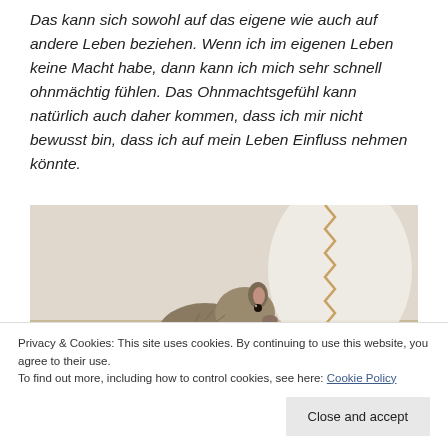Das kann sich sowohl auf das eigene wie auch auf andere Leben beziehen. Wenn ich im eigenen Leben keine Macht habe, dann kann ich mich sehr schnell ohnmächtig fühlen. Das Ohnmachtsgefühl kann natürlich auch daher kommen, dass ich mir nicht bewusst bin, dass ich auf mein Leben Einfluss nehmen könnte.
[Figure (photo): A small rodent (hamster or gerbil) on a light-colored surface, with a circular white object visible in the background on the right side.]
Privacy & Cookies: This site uses cookies. By continuing to use this website, you agree to their use. To find out more, including how to control cookies, see here: Cookie Policy